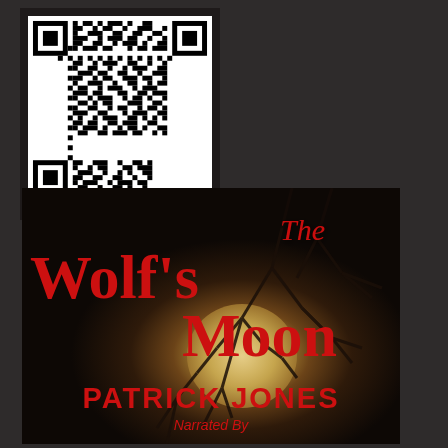[Figure (other): QR code for The Wolf's Moon audiobook]
The Wolf's Moon QR Code
[Figure (illustration): Book cover of 'The Wolf's Moon' by Patrick Jones. Dark horror aesthetic with bare tree branches against a glowing moon, red stylized title text, author name PATRICK JONES and 'Narrated By' text at the bottom.]